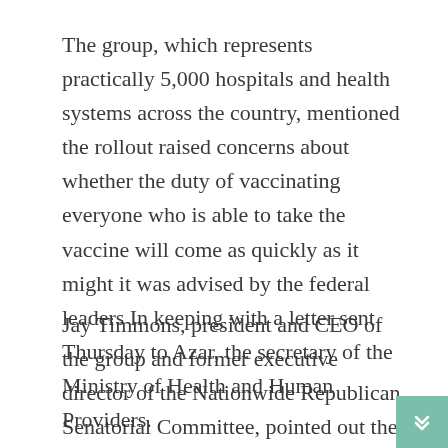The group, which represents practically 5,000 hospitals and health systems across the country, mentioned the rollout raised concerns about whether the duty of vaccinating everyone who is able to take the vaccine will come as quickly as it might it was advised by the federal leaders In keeping with a letter sent Thursday to Azar, the secretary of the Ministry of Health and Human Providers.
Jay Timmons, president and CEO of the group and former executive director of the Nationwide Republican Senatorial Committee, pointed out the tens of millions of individuals in